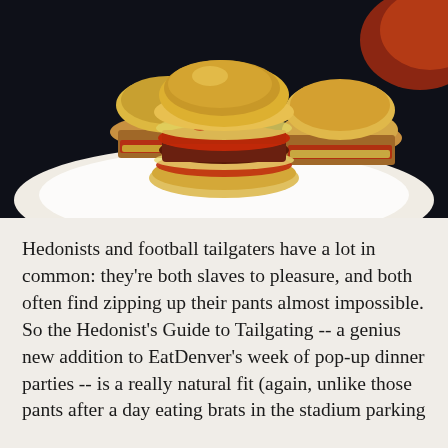[Figure (photo): Close-up photo of mini sliders (small burgers) on a white plate. The sliders have golden-brown buns, meat patties with red tomato sauce and shredded cheese on top. Dark background.]
Hedonists and football tailgaters have a lot in common: they're both slaves to pleasure, and both often find zipping up their pants almost impossible. So the Hedonist's Guide to Tailgating -- a genius new addition to EatDenver's week of pop-up dinner parties -- is a really natural fit (again, unlike those pants after a day eating brats in the stadium parking